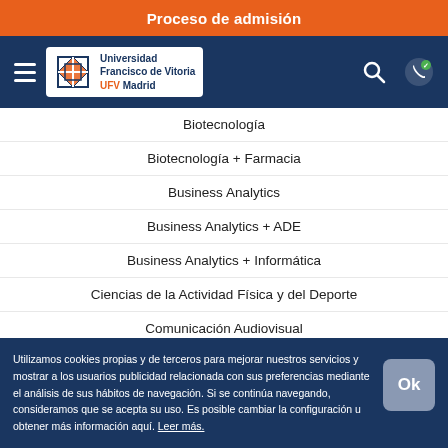Proceso de admisión
[Figure (screenshot): Universidad Francisco de Vitoria UFV Madrid navigation bar with hamburger menu, logo, search icon and phone icon on dark blue background]
Biotecnología
Biotecnología + Farmacia
Business Analytics
Business Analytics + ADE
Business Analytics + Informática
Ciencias de la Actividad Física y del Deporte
Comunicación Audiovisual
Utilizamos cookies propias y de terceros para mejorar nuestros servicios y mostrar a los usuarios publicidad relacionada con sus preferencias mediante el análisis de sus hábitos de navegación. Si se continúa navegando, consideramos que se acepta su uso. Es posible cambiar la configuración u obtener más información aquí. Leer más.